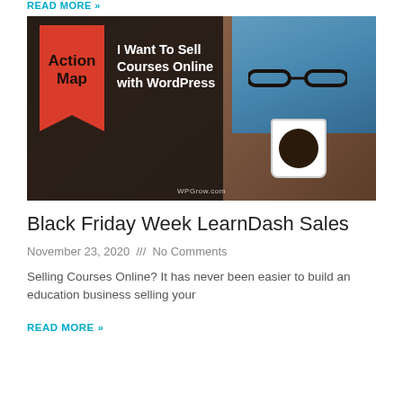READ MORE »
[Figure (illustration): Blog post thumbnail image showing a dark overlay panel on left with a red ribbon bookmark labeled 'Action Map' and white bold text 'I Want To Sell Courses Online with WordPress', overlaid on a wood-table photo background with a laptop, glasses, and coffee cup. Watermark reads WPGrow.com.]
Black Friday Week LearnDash Sales
November 23, 2020  ///  No Comments
Selling Courses Online? It has never been easier to build an education business selling your
READ MORE »